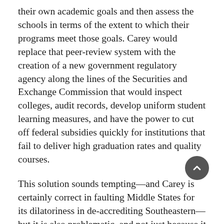their own academic goals and then assess the schools in terms of the extent to which their programs meet those goals. Carey would replace that peer-review system with the creation of a new government regulatory agency along the lines of the Securities and Exchange Commission that would inspect colleges, audit records, develop uniform student learning measures, and have the power to cut off federal subsidies quickly for institutions that fail to deliver high graduation rates and quality courses.
This solution sounds tempting—and Carey is certainly correct in faulting Middle States for its dilatoriness in de-accrediting Southeastern—but it is also problematic, and not just because it would create yet more big government to be paid for with tax dollars. As a government body, Carey's new agency would inevitably be subject to the same political impulses and misplaced high-mindedness that prompted Middle States to cut slack for Southeastern because many of